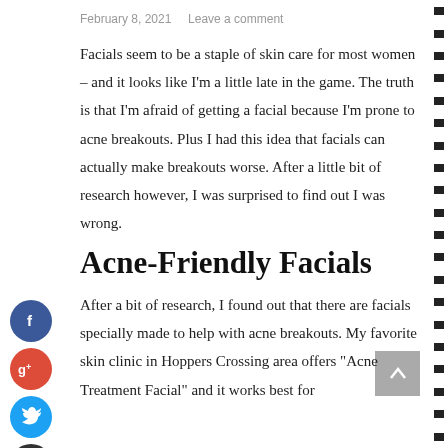February 8, 2021   Leave a comment
Facials seem to be a staple of skin care for most women – and it looks like I'm a little late in the game. The truth is that I'm afraid of getting a facial because I'm prone to acne breakouts. Plus I had this idea that facials can actually make breakouts worse. After a little bit of research however, I was surprised to find out I was wrong.
Acne-Friendly Facials
After a bit of research, I found out that there are facials specially made to help with acne breakouts. My favorite skin clinic in Hoppers Crossing area offers "Acne Treatment Facial" and it works best for